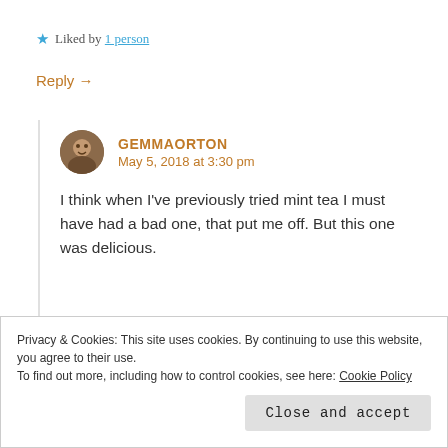★ Liked by 1 person
Reply →
GEMMAORTON
May 5, 2018 at 3:30 pm
I think when I've previously tried mint tea I must have had a bad one, that put me off. But this one was delicious.
Privacy & Cookies: This site uses cookies. By continuing to use this website, you agree to their use.
To find out more, including how to control cookies, see here: Cookie Policy
Close and accept